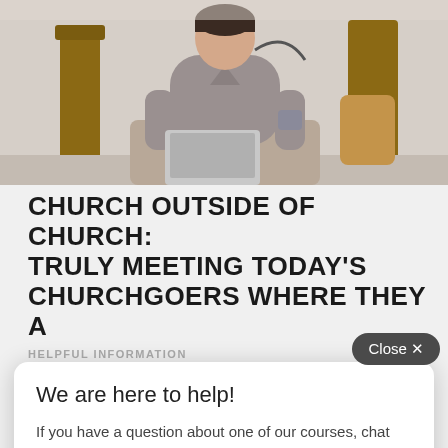[Figure (photo): Person sitting at a desk with a laptop, wearing a grey top, partially cropped at the top of the page]
CHURCH OUTSIDE OF CHURCH: TRULY MEETING TODAY'S CHURCHGOERS WHERE THEY A
HELPFUL INFORMATION
We are here to help!
If you have a question about one of our courses, chat with a team member
Send an Email